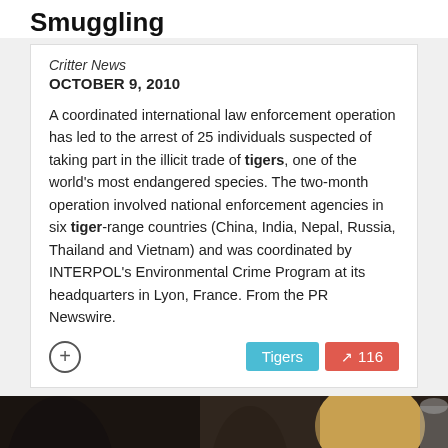Smuggling
Critter News
OCTOBER 9, 2010
A coordinated international law enforcement operation has led to the arrest of 25 individuals suspected of taking part in the illicit trade of tigers, one of the world's most endangered species. The two-month operation involved national enforcement agencies in six tiger-range countries (China, India, Nepal, Russia, Thailand and Vietnam) and was coordinated by INTERPOL's Environmental Crime Program at its headquarters in Lyon, France. From the PR Newswire.
[Figure (photo): Photo of two people at a table, one with long blonde hair writing with a pen, a coffee mug visible in the foreground]